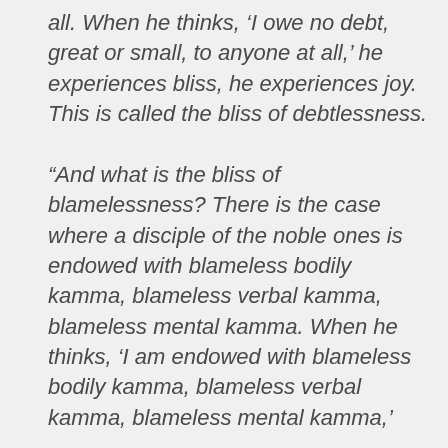all. When he thinks, ‘I owe no debt, great or small, to anyone at all,’ he experiences bliss, he experiences joy. This is called the bliss of debtlessness.
“And what is the bliss of blamelessness? There is the case where a disciple of the noble ones is endowed with blameless bodily kamma, blameless verbal kamma, blameless mental kamma. When he thinks, ‘I am endowed with blameless bodily kamma, blameless verbal kamma, blameless mental kamma,’